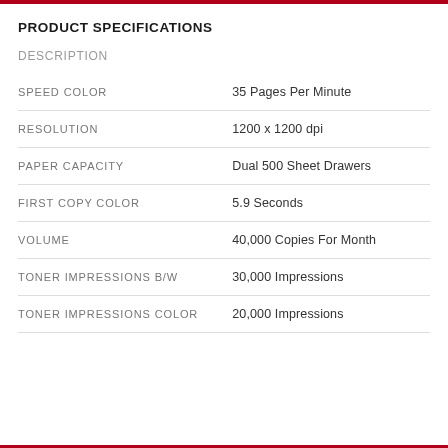PRODUCT SPECIFICATIONS
DESCRIPTION
|  |  |
| --- | --- |
| SPEED COLOR | 35 Pages Per Minute |
| RESOLUTION | 1200 x 1200 dpi |
| PAPER CAPACITY | Dual 500 Sheet Drawers |
| FIRST COPY COLOR | 5.9 Seconds |
| VOLUME | 40,000 Copies For Month |
| TONER IMPRESSIONS B/W | 30,000 Impressions |
| TONER IMPRESSIONS COLOR | 20,000 Impressions |